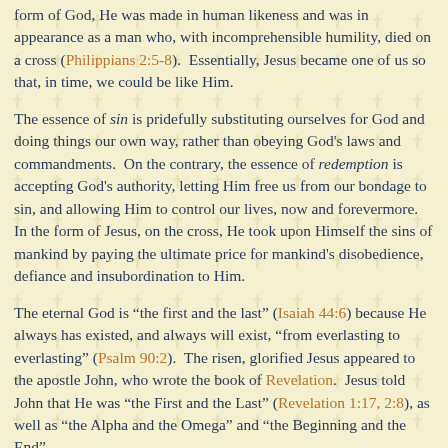form of God, He was made in human likeness and was in appearance as a man who, with incomprehensible humility, died on a cross (Philippians 2:5-8). Essentially, Jesus became one of us so that, in time, we could be like Him.
The essence of sin is pridefully substituting ourselves for God and doing things our own way, rather than obeying God's laws and commandments. On the contrary, the essence of redemption is accepting God's authority, letting Him free us from our bondage to sin, and allowing Him to control our lives, now and forevermore. In the form of Jesus, on the cross, He took upon Himself the sins of mankind by paying the ultimate price for mankind's disobedience, defiance and insubordination to Him.
The eternal God is “the first and the last” (Isaiah 44:6) because He always has existed, and always will exist, “from everlasting to everlasting” (Psalm 90:2). The risen, glorified Jesus appeared to the apostle John, who wrote the book of Revelation. Jesus told John that He was “the First and the Last” (Revelation 1:17, 2:8), as well as “the Alpha and the Omega” and “the Beginning and the End”